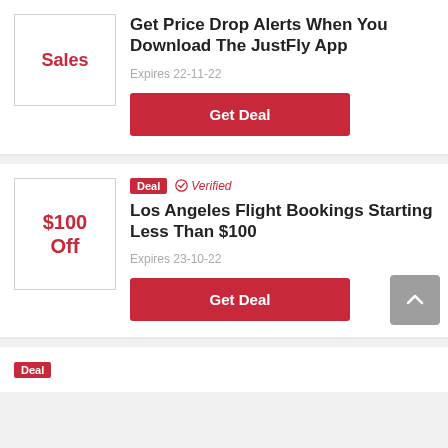[Figure (other): Sales badge box with red 'Sales' text label]
Get Price Drop Alerts When You Download The JustFly App
Expires 22-11-22
Get Deal
[Figure (other): $100 Off badge box with red text]
Deal  Verified
Los Angeles Flight Bookings Starting Less Than $100
Expires 23-10-22
Get Deal
Deal (partial, third card)